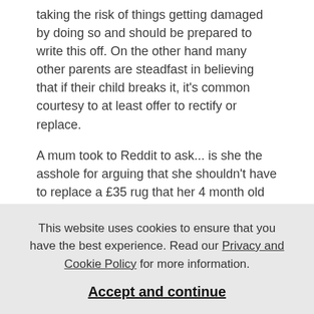taking the risk of things getting damaged by doing so and should be prepared to write this off. On the other hand many other parents are steadfast in believing that if their child breaks it, it's common courtesy to at least offer to rectify or replace.
A mum took to Reddit to ask... is she the asshole for arguing that she shouldn't have to replace a £35 rug that her 4 month old baby urinated on during a nappy change?
Check out the post below...
AITA Baby Changing accident.....
This website uses cookies to ensure that you have the best experience. Read our Privacy and Cookie Policy for more information.
Accept and continue